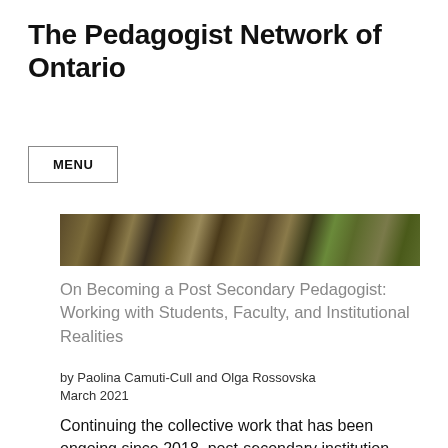The Pedagogist Network of Ontario
MENU
[Figure (photo): A nature photograph showing camouflage-like texture of foliage, bark, and leaves with earthy tones including brown, grey, and green.]
On Becoming a Post Secondary Pedagogist: Working with Students, Faculty, and Institutional Realities
by Paolina Camuti-Cull and Olga Rossovska
March 2021
Continuing the collective work that has been ongoing since 2018, post-secondary institution (PSI) pedagogists with the Pedagogist Network of Ontario work within programs that educate, initiate, and